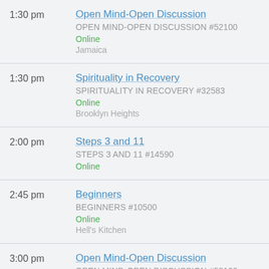1:30 pm | Open Mind-Open Discussion | OPEN MIND-OPEN DISCUSSION #52100 | Online | Jamaica
1:30 pm | Spirituality in Recovery | SPIRITUALITY IN RECOVERY #32583 | Online | Brooklyn Heights
2:00 pm | Steps 3 and 11 | STEPS 3 AND 11 #14590 | Online
2:45 pm | Beginners | BEGINNERS #10500 | Online | Hell's Kitchen
3:00 pm | Open Mind-Open Discussion | OPEN MIND-OPEN DISCUSSION #52100 | Online | Jamaica